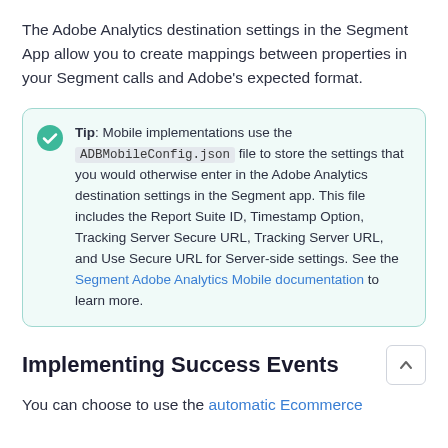The Adobe Analytics destination settings in the Segment App allow you to create mappings between properties in your Segment calls and Adobe's expected format.
Tip: Mobile implementations use the ADBMobileConfig.json file to store the settings that you would otherwise enter in the Adobe Analytics destination settings in the Segment app. This file includes the Report Suite ID, Timestamp Option, Tracking Server Secure URL, Tracking Server URL, and Use Secure URL for Server-side settings. See the Segment Adobe Analytics Mobile documentation to learn more.
Implementing Success Events
You can choose to use the automatic Ecommerce